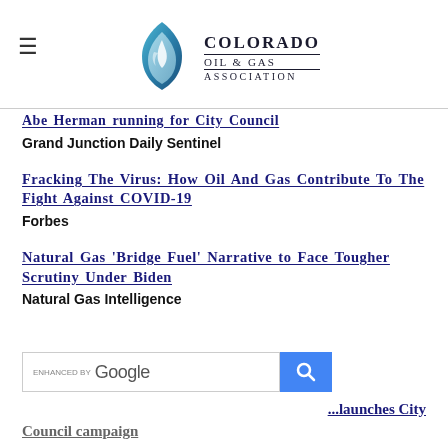[Figure (logo): Colorado Oil & Gas Association logo with flame graphic and text]
Abe Herman running for City Council — Grand Junction Daily Sentinel
Fracking The Virus: How Oil And Gas Contribute To The Fight Against COVID-19 — Forbes
Natural Gas 'Bridge Fuel' Narrative to Face Tougher Scrutiny Under Biden — Natural Gas Intelligence
[Figure (screenshot): Enhanced by Google search bar with blue search button]
...launches City Council campaign